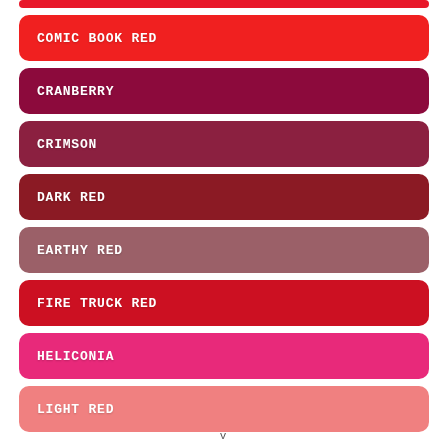COMIC BOOK RED
CRANBERRY
CRIMSON
DARK RED
EARTHY RED
FIRE TRUCK RED
HELICONIA
LIGHT RED